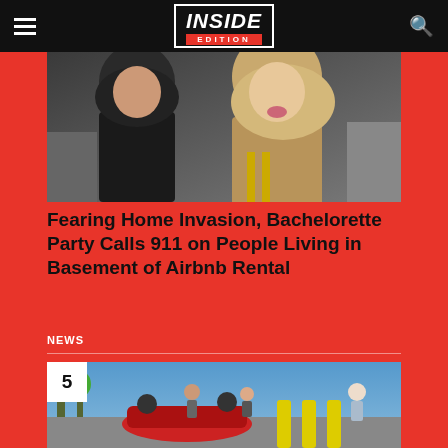INSIDE EDITION
[Figure (photo): Two blonde women taking a selfie, one making a kissing face]
Fearing Home Invasion, Bachelorette Party Calls 911 on People Living in Basement of Airbnb Rental
NEWS
[Figure (photo): People standing near an overturned red car next to yellow bollards in a parking lot. Number badge showing 5.]